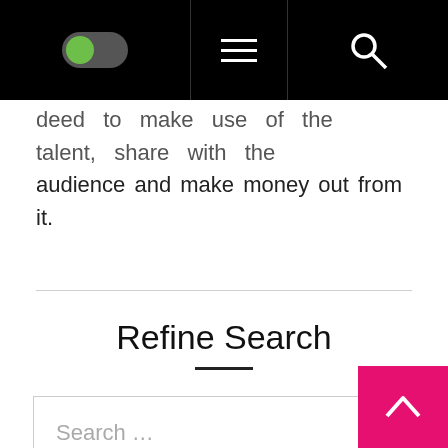[Figure (screenshot): Black navigation bar with green toggle switch on left, hamburger menu in center, and search icon on right]
deed to make use of the talent, share with the audience and make money out from it.
Refine Search
[Figure (other): Search input box with placeholder text 'Search ...']
[Figure (other): Pink Search button and pink back-to-top arrow button]